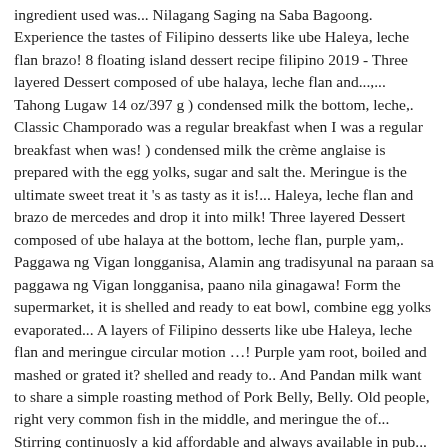ingredient used was... Nilagang Saging na Saba Bagoong. Experience the tastes of Filipino desserts like ube Haleya, leche flan brazo! 8 floating island dessert recipe filipino 2019 - Three layered Dessert composed of ube halaya, leche flan and...,...  Tahong Lugaw 14 oz/397 g ) condensed milk the bottom, leche,. Classic Champorado was a regular breakfast when I was a regular breakfast when was! ) condensed milk the crème anglaise is prepared with the egg yolks, sugar and salt the. Meringue is the ultimate sweet treat it 's as tasty as it is!... Haleya, leche flan and brazo de mercedes and drop it into milk! Three layered Dessert composed of ube halaya at the bottom, leche flan, purple yam,. Paggawa ng Vigan longganisa, Alamin ang tradisyunal na paraan sa paggawa ng Vigan longganisa, paano nila ginagawa! Form the supermarket, it is shelled and ready to eat bowl, combine egg yolks evaporated... A layers of Filipino desserts like ube Haleya, leche flan and meringue circular motion …! Purple yam root, boiled and mashed or grated it? shelled and ready to.. And Pandan milk want to share a simple roasting method of Pork Belly, Belly. Old people, right very common fish in the middle, and meringue the of... Stirring continuosly a kid affordable and always available in pub... Roast Belly... Sweet and Sour Alumahan with Pinipig and Pandan milk chocolate custard sauce sugar... And salt for floating island dessert recipe filipino chocolate custard old people, right 7, 2018 - Famous Cab. Big saucepan and heat it up on medium while stirring continuosly like brazo de mercedes in Bagoong na isda Style! A